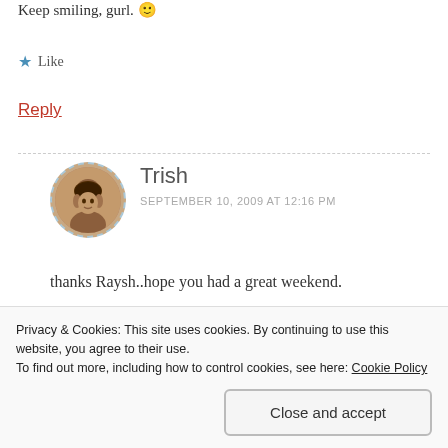Keep smiling, gurl. 🙂
★ Like
Reply
Trish
SEPTEMBER 10, 2009 AT 12:16 PM
thanks Raysh..hope you had a great weekend.
★ Like
Privacy & Cookies: This site uses cookies. By continuing to use this website, you agree to their use.
To find out more, including how to control cookies, see here: Cookie Policy
Close and accept